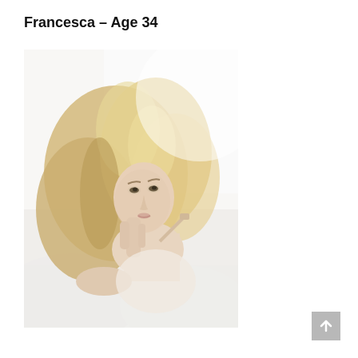Francesca – Age 34
[Figure (photo): Portrait photograph of a blonde woman named Francesca, age 34, lying on white bedding, resting her chin on her hand, wearing a light/beige top, with long wavy blonde hair, looking at camera against a white/light background.]
[Figure (other): Scroll-to-top button with upward arrow icon, grey background, positioned at bottom right of page.]